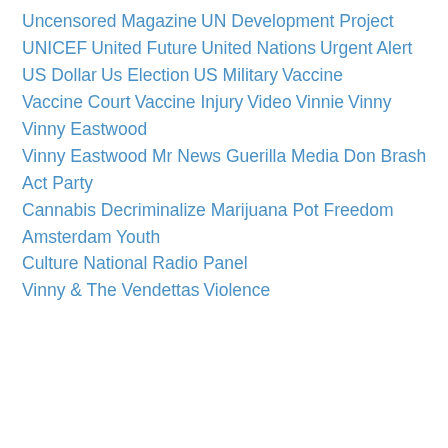Uncensored Magazine
UN Development Project
UNICEF
United Future
United Nations
Urgent Alert
US Dollar
Us Election
US Military
Vaccine
Vaccine Court
Vaccine Injury
Video
Vinnie
Vinny
Vinny Eastwood
Vinny Eastwood Mr News Guerilla Media Don Brash Act Party
Cannabis Decriminalize Marijuana Pot Freedom Amsterdam Youth Culture National Radio Panel
Vinny & The Vendettas
Violence